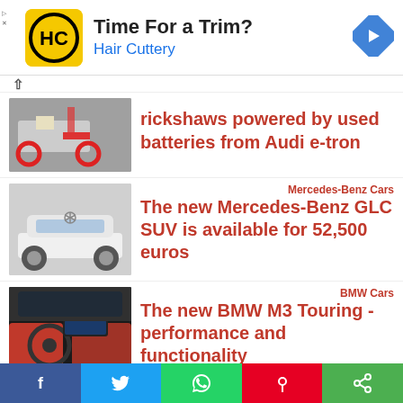[Figure (logo): Hair Cuttery advertisement banner with HC logo, text 'Time For a Trim?' and blue subtitle 'Hair Cuttery', with navigation arrow icon on the right]
rickshaws powered by used batteries from Audi e-tron
[Figure (photo): Electric rickshaw vehicle with red and black design]
Mercedes-Benz Cars
The new Mercedes-Benz GLC SUV is available for 52,500 euros
[Figure (photo): White Mercedes-Benz GLC SUV on a road]
BMW Cars
The new BMW M3 Touring - performance and functionality
[Figure (photo): BMW M3 Touring interior showing red and black sport seats and cockpit]
Volkswagen cars
The Volkswagen Amarok
[Figure (screenshot): Social media sharing bar with Facebook, Twitter, WhatsApp, Pinterest, and share buttons]